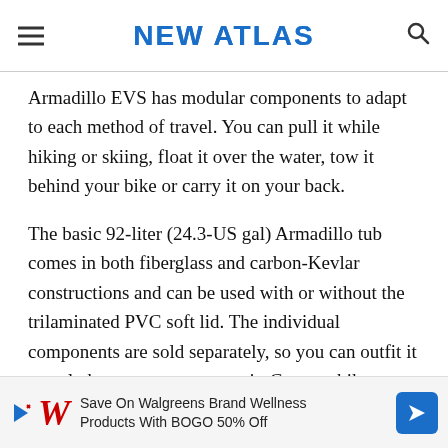NEW ATLAS
Armadillo EVS has modular components to adapt to each method of travel. You can pull it while hiking or skiing, float it over the water, tow it behind your bike or carry it on your back.
The basic 92-liter (24.3-US gal) Armadillo tub comes in both fiberglass and carbon-Kevlar constructions and can be used with or without the trilaminated PVC soft lid. The individual components are sold separately, so you can outfit it exactly how you want to use it. Create a bike cart with the bike tow bar and 20-in bike wheels, a sled with the cart/sled tow bar and p... the same ...a
[Figure (other): Walgreens advertisement banner: Save On Walgreens Brand Wellness Products With BOGO 50% Off]